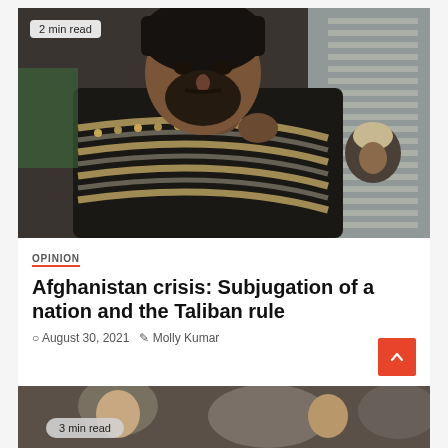[Figure (photo): Armed man with ammunition belts across his chest and a machine gun, wearing a black turban, with another figure visible in the background. News article thumbnail image.]
2 min read
OPINION
Afghanistan crisis: Subjugation of a nation and the Taliban rule
August 30, 2021   Molly Kumar
[Figure (photo): Partial thumbnail photo of people, bottom of page, with '3 min read' badge overlay.]
3 min read